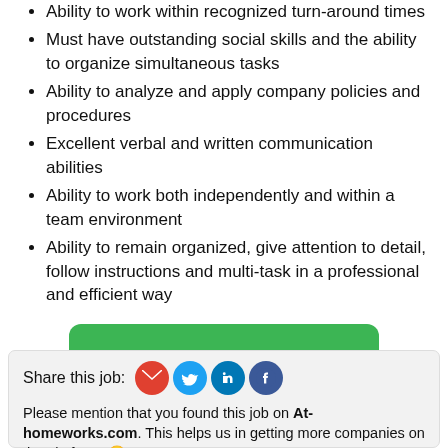Ability to work within recognized turn-around times
Must have outstanding social skills and the ability to organize simultaneous tasks
Ability to analyze and apply company policies and procedures
Excellent verbal and written communication abilities
Ability to work both independently and within a team environment
Ability to remain organized, give attention to detail, follow instructions and multi-task in a professional and efficient way
Apply for this position
Share this job:
Please mention that you found this job on At-homeworks.com. This helps us in getting more companies on the platform.